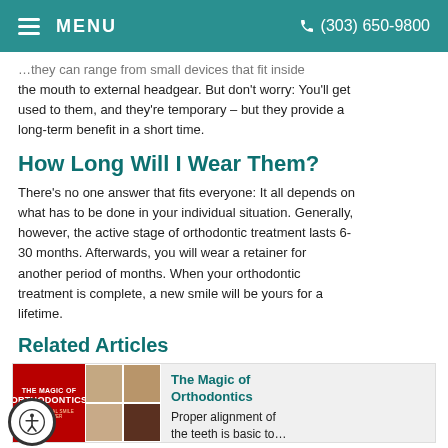MENU  (303) 650-9800
…they can range from small devices that fit inside the mouth to external headgear. But don't worry: You'll get used to them, and they're temporary – but they provide a long-term benefit in a short time.
How Long Will I Wear Them?
There's no one answer that fits everyone: It all depends on what has to be done in your individual situation. Generally, however, the active stage of orthodontic treatment lasts 6-30 months. Afterwards, you will wear a retainer for another period of months. When your orthodontic treatment is complete, a new smile will be yours for a lifetime.
Related Articles
[Figure (photo): Article card for 'The Magic of Orthodontics' showing magazine cover image with red background and a photo collage of patients]
The Magic of Orthodontics
Proper alignment of the teeth is basic to…